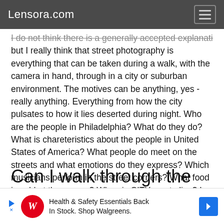Lensora.com
I do not think there is a generally accepted explanation, but I really think that street photography is everything that can be taken during a walk, with the camera in hand, through in a city or suburban environment. The motives can be anything, yes - really anything. Everything from how the city pulsates to how it lies deserted during night. Who are the people in Philadelphia? What do they do? What is chareteristics about the people in United States of America? What people do meet on the streets and what emotions do they express? Which musicians perform in the street corners? What food is sold at the square? When is CITY most alive? Is there any activity in Philadelphia at night?
Can I walk through the
[Figure (screenshot): Walgreens advertisement banner: Health & Safety Essentials Back In Stock. Shop Walgreens. With Walgreens logo and navigation arrow icon.]